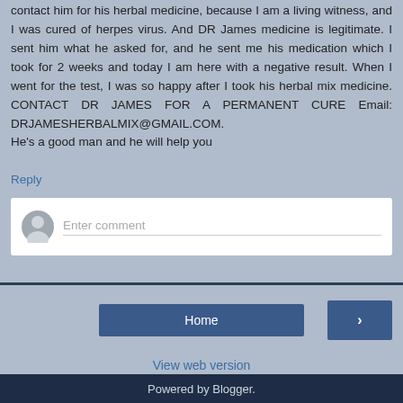contact him for his herbal medicine, because I am a living witness, and I was cured of herpes virus. And DR James medicine is legitimate. I sent him what he asked for, and he sent me his medication which I took for 2 weeks and today I am here with a negative result. When I went for the test, I was so happy after I took his herbal mix medicine. CONTACT DR JAMES FOR A PERMANENT CURE Email: DRJAMESHERBALMIX@GMAIL.COM.
He's a good man and he will help you
Reply
[Figure (other): Comment input box with a user avatar icon and placeholder text 'Enter comment']
Home
View web version
Powered by Blogger.